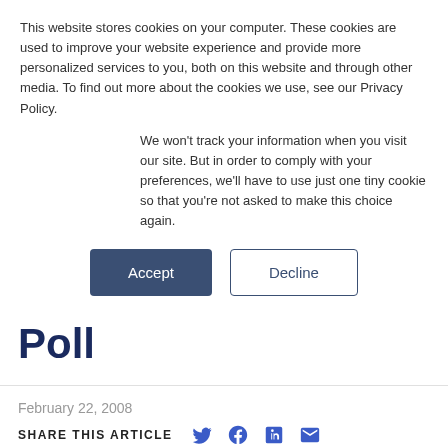This website stores cookies on your computer. These cookies are used to improve your website experience and provide more personalized services to you, both on this website and through other media. To find out more about the cookies we use, see our Privacy Policy.
We won't track your information when you visit our site. But in order to comply with your preferences, we'll have to use just one tiny cookie so that you're not asked to make this choice again.
Accept
Decline
Poll
February 22, 2008
SHARE THIS ARTICLE
Pakistani parties tentatively align